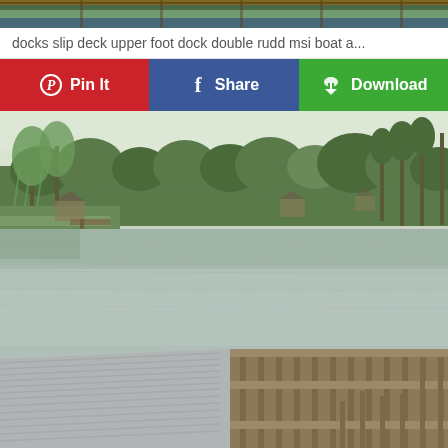[Figure (photo): Top partial photo showing wooden dock structure above water, cropped at top of page.]
docks slip deck upper foot dock double rudd msi boat a...
[Figure (other): Three social sharing buttons: red Pin It (Pinterest), blue Share (Facebook), green Download.]
[Figure (photo): Photograph of a calm lake with tree reflections, distant shoreline with buildings, and a newly constructed wooden dock/deck frame in the foreground with gray composite decking boards.]